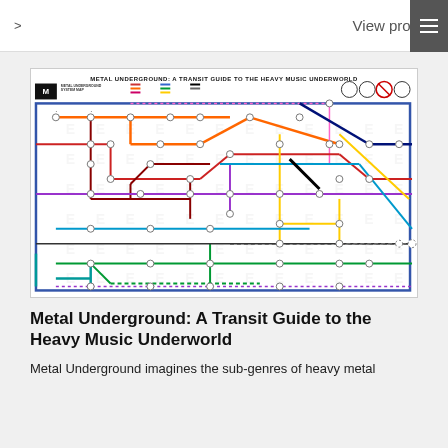View project
[Figure (map): Metal Underground: A Transit Guide to the Heavy Music Underworld — a subway-style transit map illustrating sub-genres of heavy metal music as colored train lines with stations, legend, and icons at the top.]
Metal Underground: A Transit Guide to the Heavy Music Underworld
Metal Underground imagines the sub-genres of heavy metal